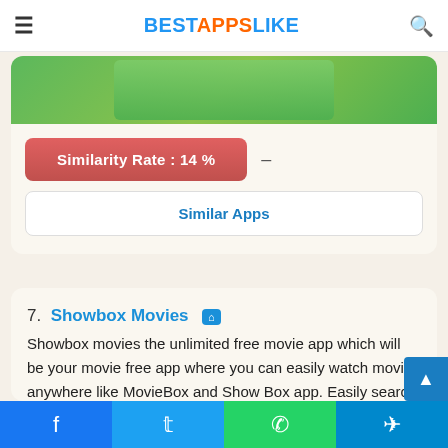BESTAPPSLIKE
[Figure (screenshot): Screenshot of a game app with colorful cartoon graphics]
Similarity Rate : 14 %
Similar Apps
7. Showbox Movies
Showbox movies the unlimited free movie app which will be your movie free app where you can easily watch movies anywhere like MovieBox and Show Box app. Easily search and find the best hidden movies and TV shows, with this free Movies & TV Shows app. You can find a